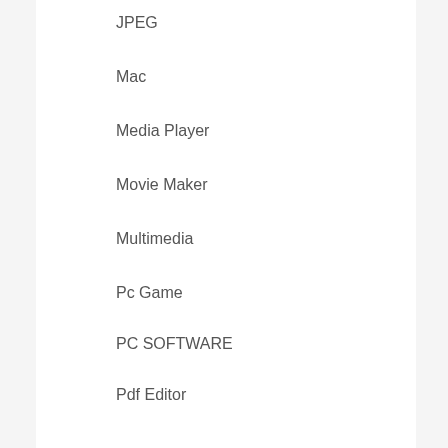JPEG
Mac
Media Player
Movie Maker
Multimedia
Pc Game
PC SOFTWARE
Pdf Editor
Photo Editing
Photo Recovery
ptimization